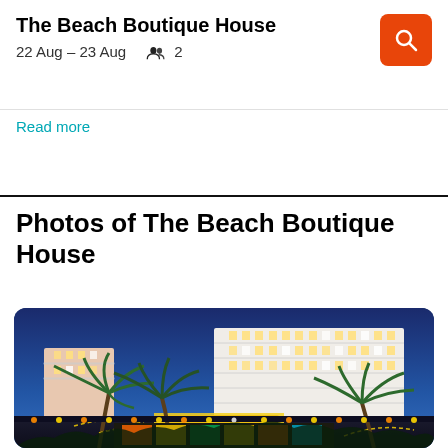The Beach Boutique House
22 Aug – 23 Aug   👥 2
Read more
Photos of The Beach Boutique House
[Figure (photo): Night exterior photo of The Beach Boutique House hotel, a multi-story white building lit up at night with palm trees decorated with string lights in the foreground, blue twilight sky in the background.]